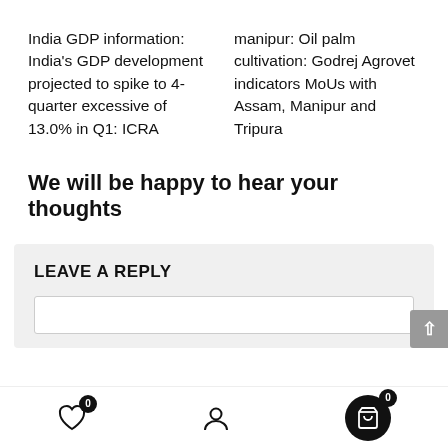India GDP information: India's GDP development projected to spike to 4-quarter excessive of 13.0% in Q1: ICRA
manipur: Oil palm cultivation: Godrej Agrovet indicators MoUs with Assam, Manipur and Tripura
We will be happy to hear your thoughts
LEAVE A REPLY